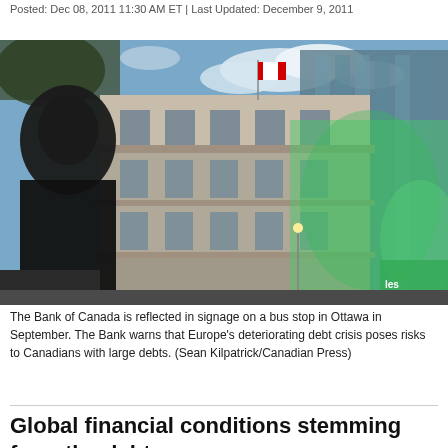Posted: Dec 08, 2011 11:30 AM ET | Last Updated: December 9, 2011
[Figure (photo): The Bank of Canada building reflected in green signage on a bus stop in Ottawa. A silhouetted person stands in the foreground. Canadian flag visible on top of the building.]
The Bank of Canada is reflected in signage on a bus stop in Ottawa in September. The Bank warns that Europe's deteriorating debt crisis poses risks to Canadians with large debts. (Sean Kilpatrick/Canadian Press)
Global financial conditions stemming from the debt